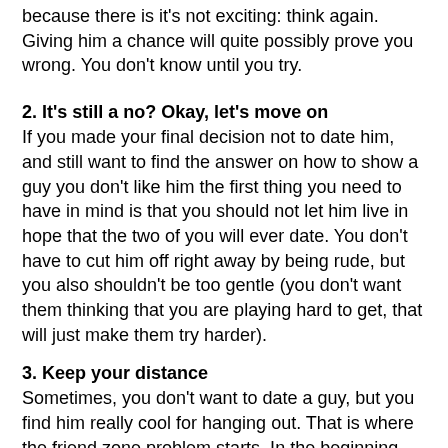because there is it's not exciting: think again. Giving him a chance will quite possibly prove you wrong. You don't know until you try.
2. It's still a no? Okay, let's move on
If you made your final decision not to date him, and still want to find the answer on how to show a guy you don't like him the first thing you need to have in mind is that you should not let him live in hope that the two of you will ever date. You don't have to cut him off right away by being rude, but you also shouldn't be too gentle (you don't want them thinking that you are playing hard to get, that will just make them try harder).
3. Keep your distance
Sometimes, you don't want to date a guy, but you find him really cool for hanging out. That is where the friend zone problem starts. In the beginning, that's no trouble for you, but that makes the things harder on him, and it can make